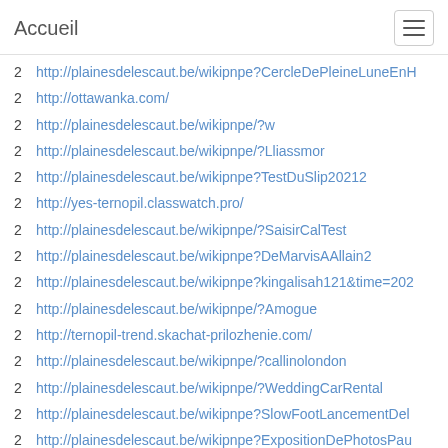Accueil
2   http://plainesdelescaut.be/wikipnpe?CercleDePleineLuneEnH
2   http://ottawanka.com/
2   http://plainesdelescaut.be/wikipnpe/?w
2   http://plainesdelescaut.be/wikipnpe/?Lliassmor
2   http://plainesdelescaut.be/wikipnpe?TestDuSlip20212
2   http://yes-ternopil.classwatch.pro/
2   http://plainesdelescaut.be/wikipnpe/?SaisirCalTest
2   http://plainesdelescaut.be/wikipnpe?DeMarvisAAllain2
2   http://plainesdelescaut.be/wikipnpe?kingalisah121&time=202
2   http://plainesdelescaut.be/wikipnpe/?Amogue
2   http://ternopil-trend.skachat-prilozhenie.com/
2   http://plainesdelescaut.be/wikipnpe/?callinolondon
2   http://plainesdelescaut.be/wikipnpe/?WeddingCarRental
2   http://plainesdelescaut.be/wikipnpe?SlowFootLancementDel
2   http://plainesdelescaut.be/wikipnpe?ExpositionDePhotosPau
2   http://plainesdelescaut.be/wikipnpe?LEpicerieDesMeuniersEn
2   http://plainesdelescaut.be/wikipnpe?cybersecurity%2Fshare
2   http://plainesdelescaut.be/wikipnpe?LeFestivalDeLaNotEnC
2   http://plainesdelescaut.be/wikipnpe?casinototo11
2   http://plainesdelescaut.be/wikipnpe/?casinototo1234756